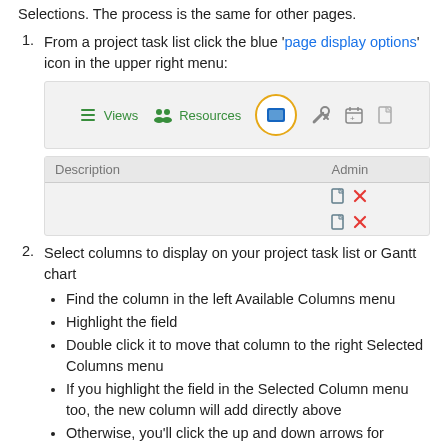Selections. The process is the same for other pages.
From a project task list click the blue 'page display options' icon in the upper right menu:
[Figure (screenshot): UI toolbar screenshot showing Views, Resources icons, a circled blue page display options icon, a wrench/tools icon, and other icons on a gray background.]
[Figure (screenshot): Table screenshot showing Description and Admin columns, with two rows each containing a document icon and a red X icon in the Admin column.]
Select columns to display on your project task list or Gantt chart
Find the column in the left Available Columns menu
Highlight the field
Double click it to move that column to the right Selected Columns menu
If you highlight the field in the Selected Column menu too, the new column will add directly above
Otherwise, you'll click the up and down arrows for